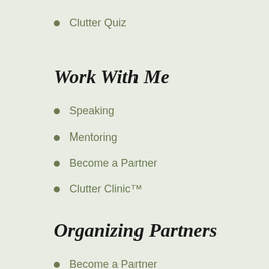Clutter Quiz
Work With Me
Speaking
Mentoring
Become a Partner
Clutter Clinic™
Organizing Partners
Become a Partner
Find an Organizer